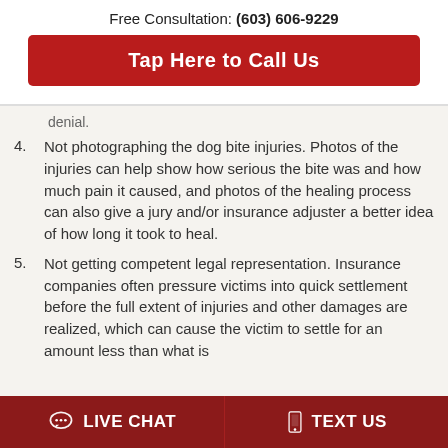Free Consultation: (603) 606-9229
Tap Here to Call Us
denial.
Not photographing the dog bite injuries. Photos of the injuries can help show how serious the bite was and how much pain it caused, and photos of the healing process can also give a jury and/or insurance adjuster a better idea of how long it took to heal.
Not getting competent legal representation. Insurance companies often pressure victims into quick settlement before the full extent of injuries and other damages are realized, which can cause the victim to settle for an amount less than what is
LIVE CHAT   TEXT US